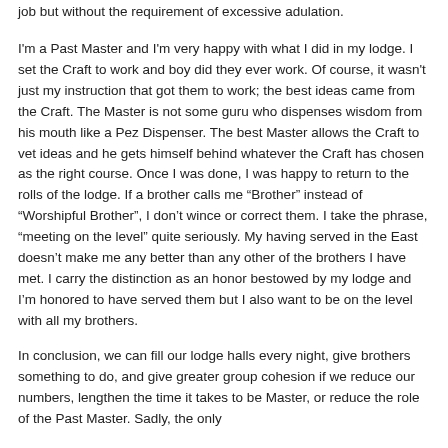job but without the requirement of excessive adulation.
I'm a Past Master and I'm very happy with what I did in my lodge. I set the Craft to work and boy did they ever work. Of course, it wasn't just my instruction that got them to work; the best ideas came from the Craft. The Master is not some guru who dispenses wisdom from his mouth like a Pez Dispenser. The best Master allows the Craft to vet ideas and he gets himself behind whatever the Craft has chosen as the right course. Once I was done, I was happy to return to the rolls of the lodge. If a brother calls me “Brother” instead of “Worshipful Brother”, I don’t wince or correct them. I take the phrase, “meeting on the level” quite seriously. My having served in the East doesn’t make me any better than any other of the brothers I have met. I carry the distinction as an honor bestowed by my lodge and I’m honored to have served them but I also want to be on the level with all my brothers.
In conclusion, we can fill our lodge halls every night, give brothers something to do, and give greater group cohesion if we reduce our numbers, lengthen the time it takes to be Master, or reduce the role of the Past Master. Sadly, the only